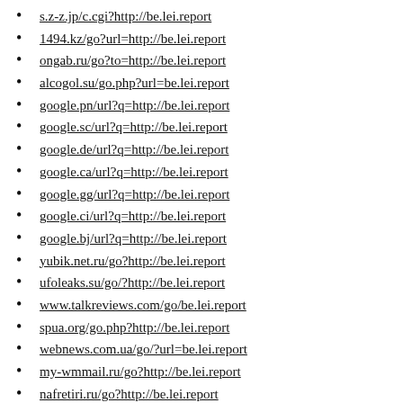s.z-z.jp/c.cgi?http://be.lei.report
1494.kz/go?url=http://be.lei.report
ongab.ru/go?to=http://be.lei.report
alcogol.su/go.php?url=be.lei.report
google.pn/url?q=http://be.lei.report
google.sc/url?q=http://be.lei.report
google.de/url?q=http://be.lei.report
google.ca/url?q=http://be.lei.report
google.gg/url?q=http://be.lei.report
google.ci/url?q=http://be.lei.report
google.bj/url?q=http://be.lei.report
yubik.net.ru/go?http://be.lei.report
ufoleaks.su/go/?http://be.lei.report
www.talkreviews.com/go/be.lei.report
spua.org/go.php?http://be.lei.report
webnews.com.ua/go/?url=be.lei.report
my-wmmail.ru/go?http://be.lei.report
nafretiri.ru/go?http://be.lei.report
www.mueritz.de/extLink/be.lei.report